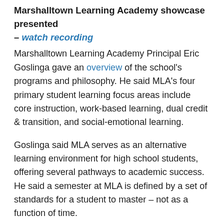Marshalltown Learning Academy showcase presented – watch recording
Marshalltown Learning Academy Principal Eric Goslinga gave an overview of the school's programs and philosophy. He said MLA's four primary student learning focus areas include core instruction, work-based learning, dual credit & transition, and social-emotional learning.
Goslinga said MLA serves as an alternative learning environment for high school students, offering several pathways to academic success. He said a semester at MLA is defined by a set of standards for a student to master – not as a function of time.
High school graduates list approved – watch recording